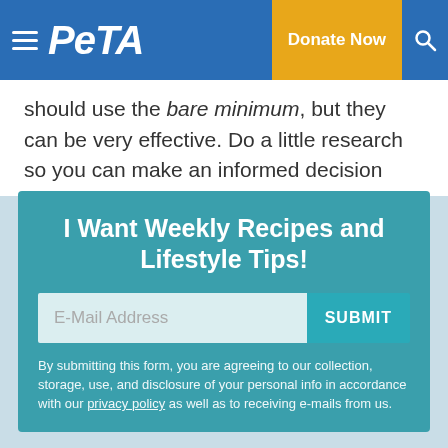PETA — Donate Now
should use the bare minimum, but they can be very effective. Do a little research so you can make an informed decision about whether to use them. I've used both for extended periods with no ill effects that I could detect.
I Want Weekly Recipes and Lifestyle Tips!
E-Mail Address  SUBMIT
By submitting this form, you are agreeing to our collection, storage, use, and disclosure of your personal info in accordance with our privacy policy as well as to receiving e-mails from us.